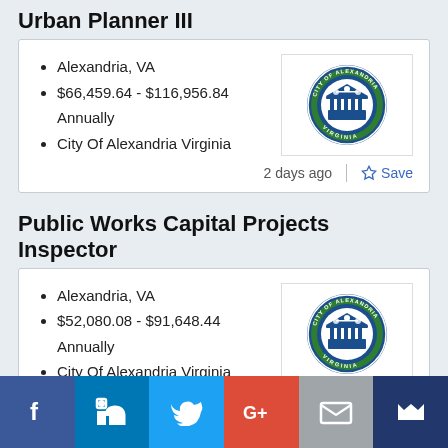Urban Planner III
Alexandria, VA
$66,459.64 - $116,956.84 Annually
City Of Alexandria Virginia
[Figure (logo): City of Alexandria Virginia official seal — circular blue and green emblem with scales of justice and building imagery]
2 days ago
Save
Public Works Capital Projects Inspector
Alexandria, VA
$52,080.08 - $91,648.44 Annually
City Of Alexandria Virginia
[Figure (logo): City of Alexandria Virginia official seal — circular blue and green emblem with scales of justice and building imagery]
[Figure (infographic): Social sharing bar with Facebook, LinkedIn, Twitter, Google+, Email, and bookmark icons]